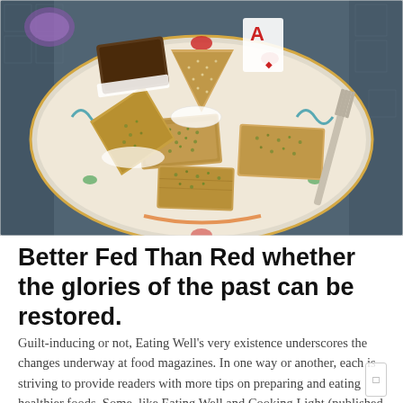[Figure (photo): A decorative plate with assorted baklava and Middle Eastern pastries dusted with green pistachio, arranged on an ornate colorful ceramic plate with floral patterns, placed on a patterned surface.]
Better Fed Than Red whether the glories of the past can be restored.
Guilt-inducing or not, Eating Well's very existence underscores the changes underway at food magazines. In one way or another, each is striving to provide readers with more tips on preparing and eating healthier foods. Some, like Eating Well and Cooking Light (published by Southern Living) are devoted